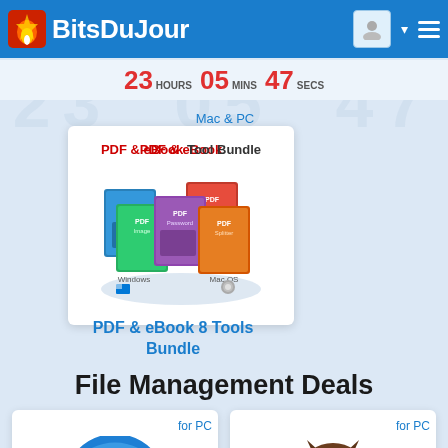BitsDuJour
23 HOURS  05 MINS  47 SECS
Mac & PC
[Figure (screenshot): PDF & eBook Tool Bundle product box showing multiple software boxes (PDF Encryptor, PDF Combiner, PDF Image, PDF Password, PDF Splitter, PDF Converter) for Windows and Mac OS]
PDF & eBook 8 Tools Bundle
File Management Deals
[Figure (logo): Blue circular logo with number 6 for a file management product, labeled 'for PC']
[Figure (logo): Brown owl cartoon character logo for a file management product, labeled 'for PC']